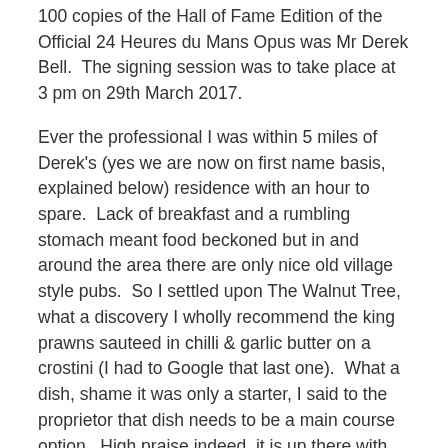100 copies of the Hall of Fame Edition of the Official 24 Heures du Mans Opus was Mr Derek Bell.  The signing session was to take place at 3 pm on 29th March 2017.
Ever the professional I was within 5 miles of Derek's (yes we are now on first name basis, explained below) residence with an hour to spare.  Lack of breakfast and a rumbling stomach meant food beckoned but in and around the area there are only nice old village style pubs.  So I settled upon The Walnut Tree, what a discovery I wholly recommend the king prawns sauteed in chilli & garlic butter on a crostini (I had to Google that last one).  What a dish, shame it was only a starter, I said to the proprietor that dish needs to be a main course option.  High praise indeed, it is up there with my mother's chicken curry and my roast chicken (contact me if you need either recipe).  In the words of the greatest method actor in the world – I'll be back.
Right belly full, work mode switched on.
As the door...